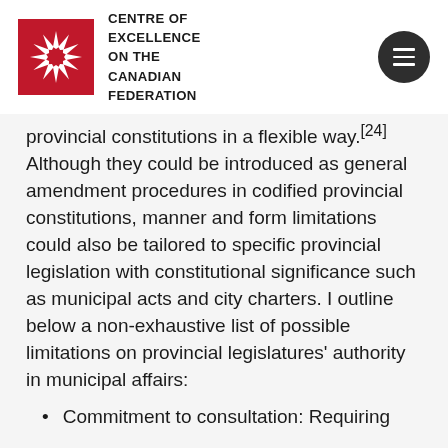[Figure (logo): Centre of Excellence on the Canadian Federation logo with red square containing white sunburst/asterisk symbol]
CENTRE OF EXCELLENCE ON THE CANADIAN FEDERATION
provincial constitutions in a flexible way.[24] Although they could be introduced as general amendment procedures in codified provincial constitutions, manner and form limitations could also be tailored to specific provincial legislation with constitutional significance such as municipal acts and city charters. I outline below a non-exhaustive list of possible limitations on provincial legislatures' authority in municipal affairs:
Commitment to consultation: Requiring